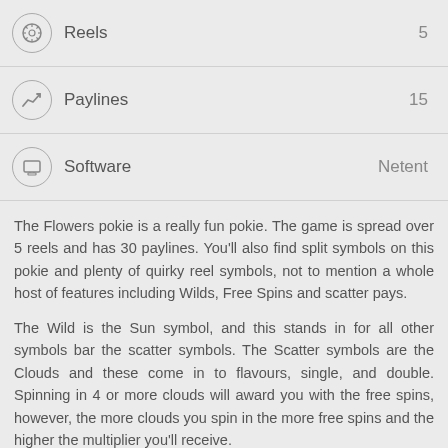Reels  5
Paylines  15
Software  Netent
The Flowers pokie is a really fun pokie. The game is spread over 5 reels and has 30 paylines. You'll also find split symbols on this pokie and plenty of quirky reel symbols, not to mention a whole host of features including Wilds, Free Spins and scatter pays.
The Wild is the Sun symbol, and this stands in for all other symbols bar the scatter symbols. The Scatter symbols are the Clouds and these come in to flavours, single, and double. Spinning in 4 or more clouds will award you with the free spins, however, the more clouds you spin in the more free spins and the higher the multiplier you'll receive.
The jackpot is 3000 coins, which although fairly modest, you'll find